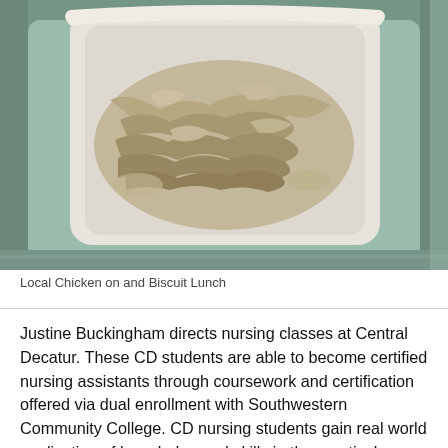[Figure (photo): A white takeout container filled with shredded chicken in a pale gravy/sauce, sitting in a grey metal tray. The food appears to be a chicken dish served as a lunch item.]
Local Chicken on and Biscuit Lunch
Justine Buckingham directs nursing classes at Central Decatur. These CD students are able to become certified nursing assistants through coursework and certification offered via dual enrollment with Southwestern Community College. CD nursing students gain real world application of knowledge and skills in the practical setting of local health facilities.